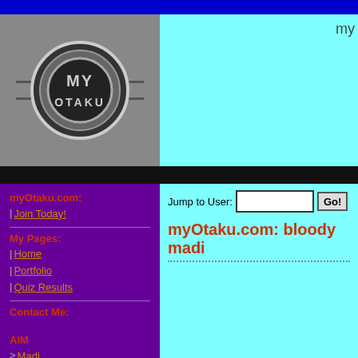[Figure (logo): myOtaku.com circular logo with MY OTAKU text on grey background]
my
myOtaku.com:
| Join Today!
My Pages:
| Home
| Portfolio
| Quiz Results
Contact Me:
AIM
> Madi
E-mail
> Click Here
Website
> Click Here
myOtaku.com: bloody madi